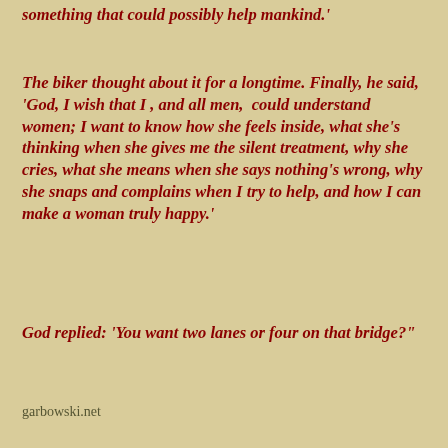something that could possibly help mankind.'
The biker thought about it for a longtime. Finally, he said, 'God, I wish that I , and all men,  could understand women; I want to know how she feels inside, what she's thinking when she gives me the silent treatment, why she cries, what she means when she says nothing's wrong, why she snaps and complains when I try to help, and how I can make a woman truly happy.'
God replied: 'You want two lanes or four on that bridge?"
garbowski.net